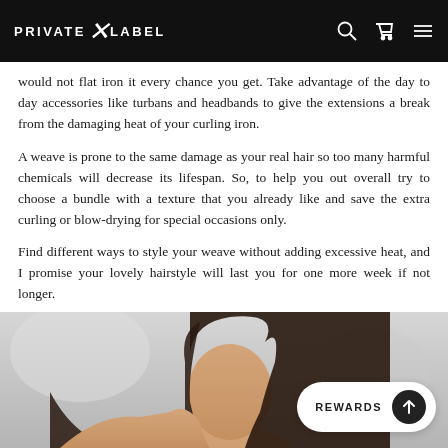PRIVATE X LABEL
would not flat iron it every chance you get. Take advantage of the day to day accessories like turbans and headbands to give the extensions a break from the damaging heat of your curling iron.
A weave is prone to the same damage as your real hair so too many harmful chemicals will decrease its lifespan. So, to help you out overall try to choose a bundle with a texture that you already like and save the extra curling or blow-drying for special occasions only.
Find different ways to style your weave without adding excessive heat, and I promise your lovely hairstyle will last you for one more week if not longer.
[Figure (photo): Woman with straight dark hair, side profile view, in a light interior setting. A 'REWARDS' button overlay appears in the bottom right corner.]